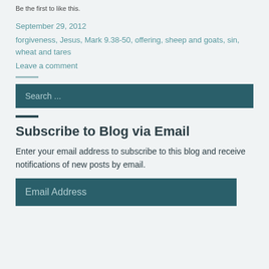Be the first to like this.
September 29, 2012
forgiveness, Jesus, Mark 9.38-50, offering, sheep and goats, sin, wheat and tares
Leave a comment
Search ...
Subscribe to Blog via Email
Enter your email address to subscribe to this blog and receive notifications of new posts by email.
Email Address